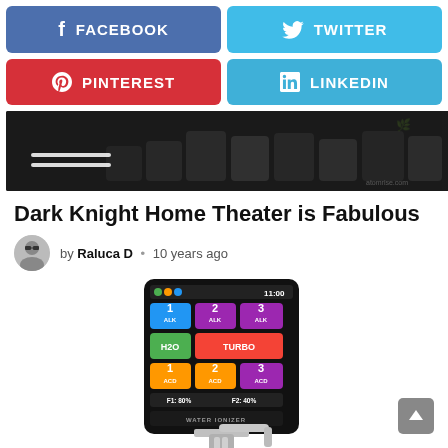[Figure (infographic): Social media share buttons: Facebook (blue), Twitter (light blue), Pinterest (red), LinkedIn (light blue)]
[Figure (photo): Dark home theater interior with cinema seats, dark moody lighting, white stripe light on left wall]
Dark Knight Home Theater is Fabulous
by Raluca D • 10 years ago
[Figure (photo): Water ionizer device with touchscreen display showing colored app buttons: ALK 1, ALK 2, ALK 3, H2O, TURBO, ACD 1, ACD 2, ACD 3, with percentages F1: 80% F2: 40% and label WATER IONIZER at bottom, with chrome faucet below]